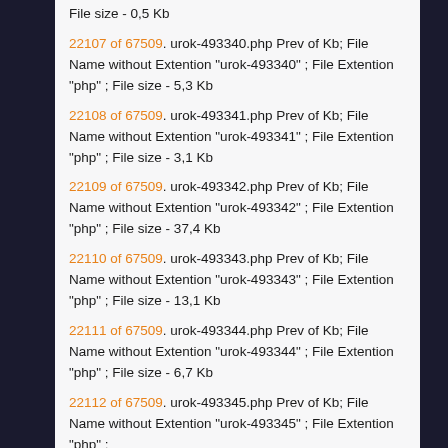File size - 0,5 Kb
22107 of 67509. urok-493340.php Prev of Kb; File Name without Extention "urok-493340" ; File Extention "php" ; File size - 5,3 Kb
22108 of 67509. urok-493341.php Prev of Kb; File Name without Extention "urok-493341" ; File Extention "php" ; File size - 3,1 Kb
22109 of 67509. urok-493342.php Prev of Kb; File Name without Extention "urok-493342" ; File Extention "php" ; File size - 37,4 Kb
22110 of 67509. urok-493343.php Prev of Kb; File Name without Extention "urok-493343" ; File Extention "php" ; File size - 13,1 Kb
22111 of 67509. urok-493344.php Prev of Kb; File Name without Extention "urok-493344" ; File Extention "php" ; File size - 6,7 Kb
22112 of 67509. urok-493345.php Prev of Kb; File Name without Extention "urok-493345" ; File Extention "php" ;